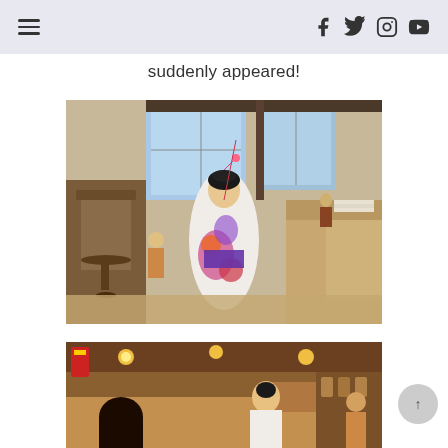Navigation header with hamburger menu and social icons (Facebook, Twitter, Instagram, YouTube)
suddenly appeared!
[Figure (photo): A woman dressed in a colorful floral kimono with traditional Japanese hair ornaments stands in a Japanese restaurant interior with wooden furniture, large windows, and a sushi counter.]
[Figure (photo): Partial view of a Japanese restaurant interior with warm lighting, a bar/counter area, and people in the background, possibly showing another kimono-dressed person.]